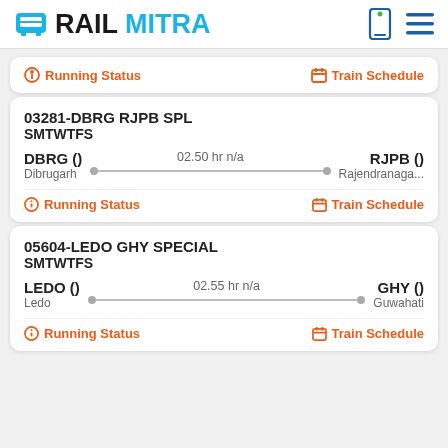RAILMITRA
Running Status | Train Schedule
03281-DBRG RJPB SPL
SMTWTFS
DBRG () Dibrugarh   02.50 hr n/a   RJPB () Rajendranaga...
Running Status | Train Schedule
05604-LEDO GHY SPECIAL
SMTWTFS
LEDO () Ledo   02.55 hr n/a   GHY () Guwahati
Running Status | Train Schedule